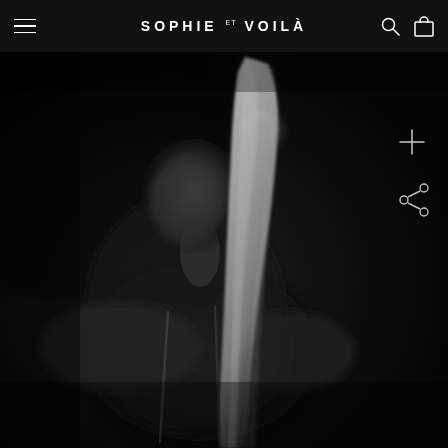SOPHIE ET VOILÀ — navigation header with hamburger menu, brand logo, search icon, and cart icon
[Figure (photo): Black and white fashion/bridal photograph showing a dark-skinned model in profile against a dark background, holding or wearing a flowing white veil that extends upward. The model wears a minimal top with visible straps. The image is dramatic with high contrast between the luminous veil and the dark background. A plus (+) icon and share icon are overlaid on the right side of the image.]